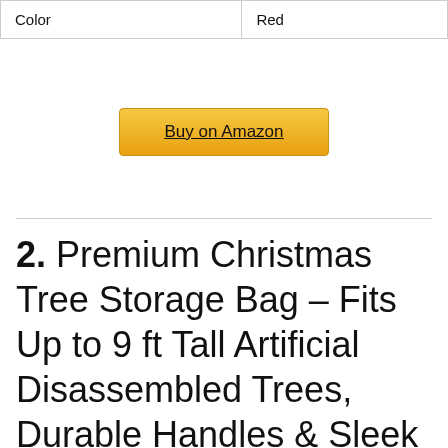| Color | Red |
Buy on Amazon
2. Premium Christmas Tree Storage Bag – Fits Up to 9 ft Tall Artificial Disassembled Trees, Durable Handles & Sleek Dual Zipper – Holiday Xmas Bag Made of Tear Proof 600D Oxford – 5 Year